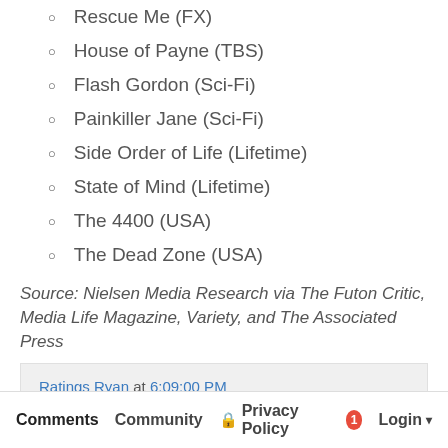Rescue Me (FX)
House of Payne (TBS)
Flash Gordon (Sci-Fi)
Painkiller Jane (Sci-Fi)
Side Order of Life (Lifetime)
State of Mind (Lifetime)
The 4400 (USA)
The Dead Zone (USA)
Source: Nielsen Media Research via The Futon Critic, Media Life Magazine, Variety, and The Associated Press
Ratings Ryan at 6:09:00 PM
Comments  Community  Privacy Policy  1  Login